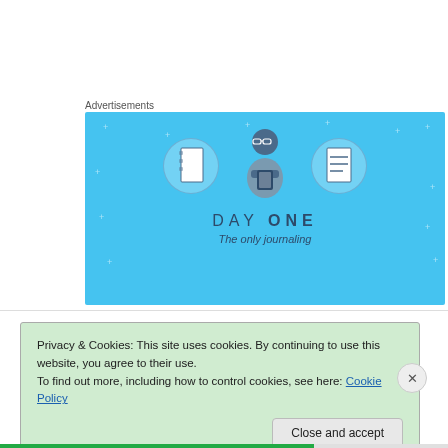Advertisements
[Figure (illustration): Day One journaling app advertisement. Light blue background with three circular icons showing notebooks and a person using a phone. Text reads 'DAY ONE' and 'The only journaling']
Privacy & Cookies: This site uses cookies. By continuing to use this website, you agree to their use.
To find out more, including how to control cookies, see here: Cookie Policy
Close and accept